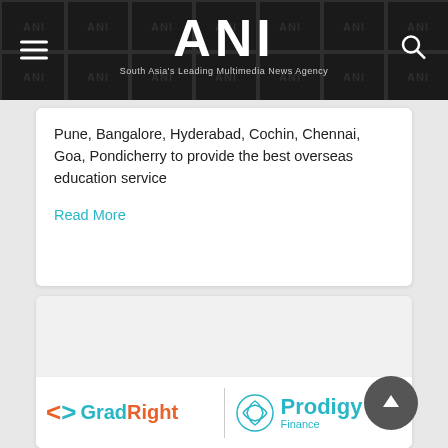ANI — South Asia's Leading Multimedia News Agency
Pune, Bangalore, Hyderabad, Cochin, Chennai, Goa, Pondicherry to provide the best overseas education service
Read More
[Figure (logo): GradRight and Prodigy Finance logos side by side]